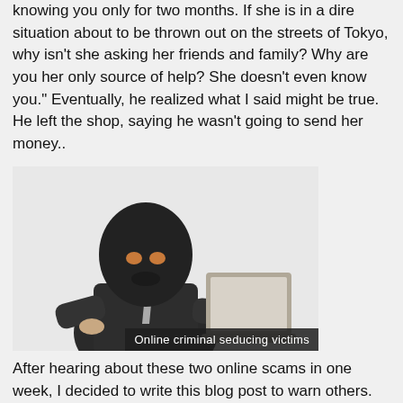knowing you only for two months. If she is in a dire situation about to be thrown out on the streets of Tokyo, why isn't she asking her friends and family? Why are you her only source of help? She doesn't even know you." Eventually, he realized what I said might be true. He left the shop, saying he wasn't going to send her money..
[Figure (photo): A person wearing a black ski mask and dark jacket hunched over a laptop computer, depicting an online criminal. A caption bar reads 'Online criminal seducing victims'.]
After hearing about these two online scams in one week, I decided to write this blog post to warn others.